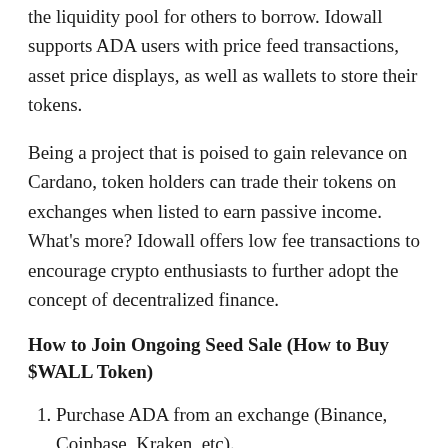the liquidity pool for others to borrow. Idowall supports ADA users with price feed transactions, asset price displays, as well as wallets to store their tokens.
Being a project that is poised to gain relevance on Cardano, token holders can trade their tokens on exchanges when listed to earn passive income. What's more? Idowall offers low fee transactions to encourage crypto enthusiasts to further adopt the concept of decentralized finance.
How to Join Ongoing Seed Sale (How to Buy $WALL Token)
Purchase ADA from an exchange (Binance, Coinbase, Kraken, etc).
Send the purchased ADA to your Cardano supported wallets. (Cardano Wallets includes: Yoroi, Daedalus, Adalite or Nami Wallet).
Then, send purchased ADA from Cardano supported